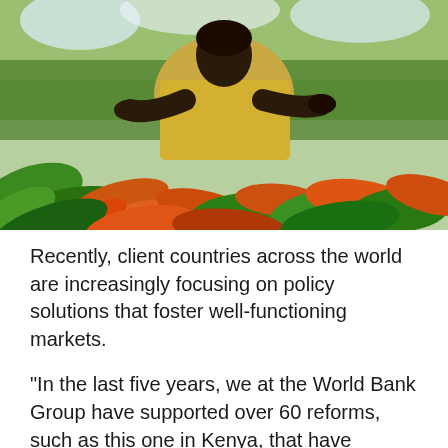[Figure (photo): A woman in a yellow shirt working among green and orange-red tropical plants or tea bushes, photographed from a low angle with trees in the background.]
Recently, client countries across the world are increasingly focusing on policy solutions that foster well-functioning markets.
“In the last five years, we at the World Bank Group have supported over 60 reforms, such as this one in Kenya, that have yielded millions in consumer savings and private investment generated,” said Martha Licetti, Global Lead for